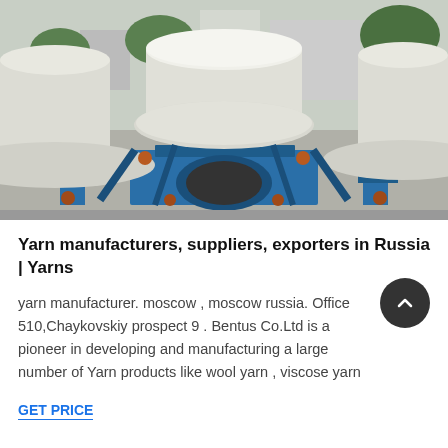[Figure (photo): Industrial machinery photo showing large white cylindrical grinding/milling machines mounted on blue metal frames/stands, outdoors with buildings in background]
Yarn manufacturers, suppliers, exporters in Russia | Yarns
yarn manufacturer. moscow , moscow russia. Office 510,Chaykovskiy prospect 9 . Bentus Co.Ltd is a pioneer in developing and manufacturing a large number of Yarn products like wool yarn , viscose yarn
GET PRICE